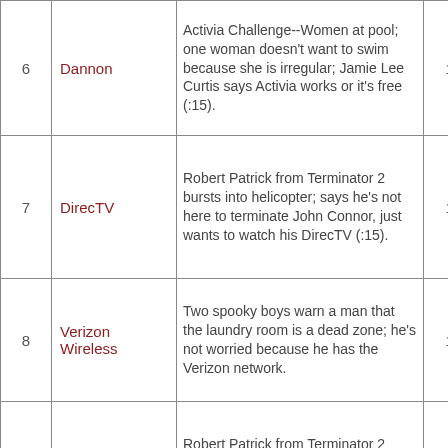| # | Brand | Description | Score |
| --- | --- | --- | --- |
| 6 | Dannon | Activia Challenge--Women at pool; one woman doesn't want to swim because she is irregular; Jamie Lee Curtis says Activia works or it's free (:15). | 174 |
| 7 | DirecTV | Robert Patrick from Terminator 2 bursts into helicopter; says he's not here to terminate John Connor, just wants to watch his DirecTV (:15). | 171 |
| 8 | Verizon Wireless | Two spooky boys warn a man that the laundry room is a dead zone; he's not worried because he has the Verizon network. | 170 |
| 9 | DirecTV | Robert Patrick from Terminator 2 bursts into helicopter; says he's not here to terminate John Connor, just wants to watch his DirecTV (:30). | 166 |
|  |  | FamilyTalk with Rollover--Man will... |  |